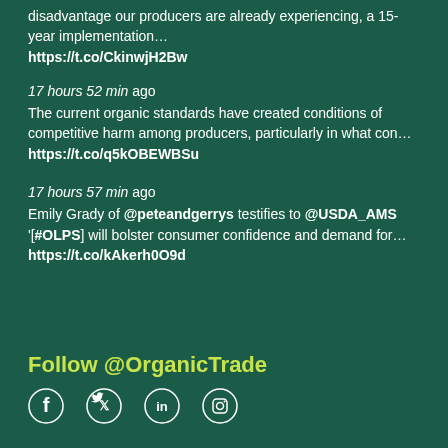disadvantage our producers are already experiencing, a 15-year implementation… https://t.co/CkinwjH2Bw
17 hours 52 min ago
The current organic standards have created conditions of competitive harm among producers, particularly in what con… https://t.co/q5kOBEWBSu
17 hours 57 min ago
Emily Grady of @peteandgerrys testifies to @USDA_AMS '[#OLPS] will bolster consumer confidence and demand for… https://t.co/kAkerh0O9d
Follow @OrganicTrade
[Figure (illustration): Social media icons: Facebook, Twitter, LinkedIn, Instagram]